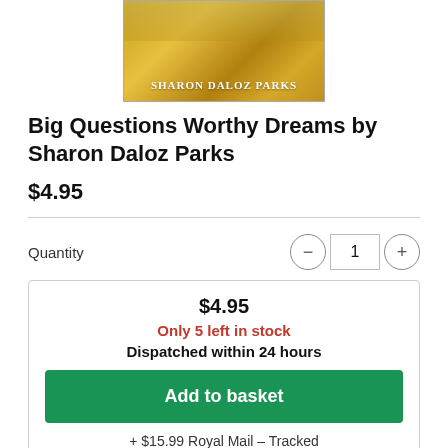[Figure (illustration): Book cover showing golden/sandy textured background with author name SHARON DALOZ PARKS in white serif letters]
Big Questions Worthy Dreams by Sharon Daloz Parks
$4.95
Quantity   1
$4.95
Only 5 left in stock
Dispatched within 24 hours
Add to basket
+ $15.99 Royal Mail - Tracked
Taxes calculated at checkout